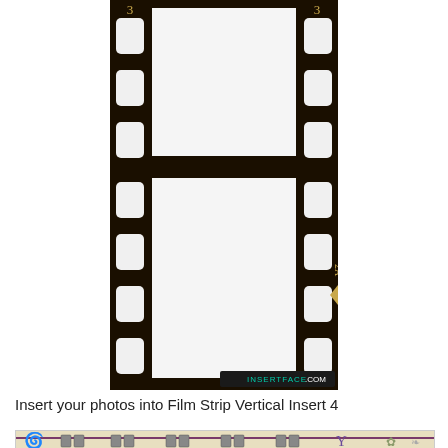[Figure (illustration): A vertical film strip with two blank photo frames, sprocket holes on both sides, frame numbers '3' and '2A' visible, with INSERTFACE.COM watermark at bottom right]
Insert your photos into Film Strip Vertical Insert 4
[Figure (illustration): Bottom portion of a decorative scrapbook-style film strip or border with ornamental elements including a spiral/swirl, small film frames, and a stylized letter Y or flower design on a beige background]